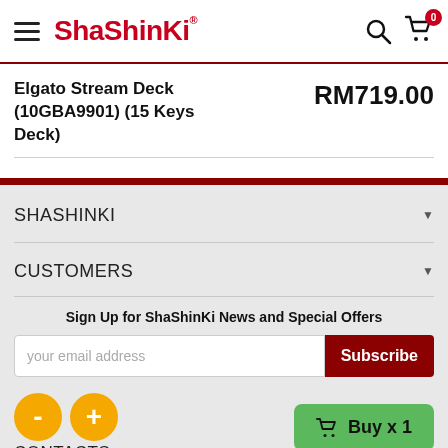ShaShinKi
Elgato Stream Deck (10GBA9901) (15 Keys Deck)
RM719.00
SHASHINKI
CUSTOMERS
Sign Up for ShaShinKi News and Special Offers
your email address
Subscribe
- +
Buy x 1
CONTACTS